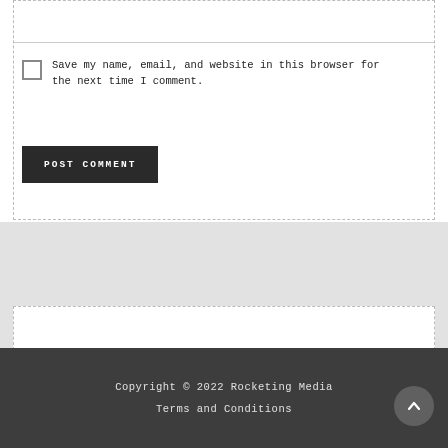[Figure (screenshot): Text input field (empty) at top of comment form]
Save my name, email, and website in this browser for the next time I comment.
POST COMMENT
[Figure (screenshot): Search input field (empty) in grey textured background section]
Copyright © 2022 Rocketing Media
Terms and Conditions